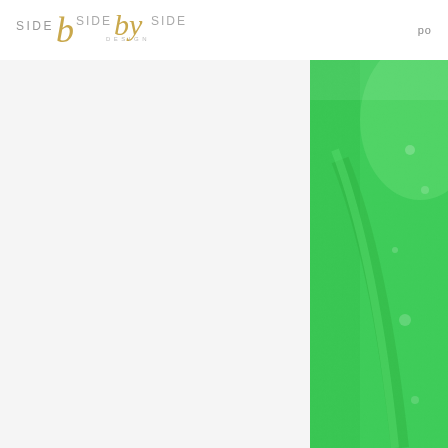SIDE by SIDE DESIGN  po
[Figure (photo): Close-up photograph of bright green textured surface, possibly felt or moss, with diagonal crease/fold running through it. Bright, vivid green color with granular/fibrous texture.]